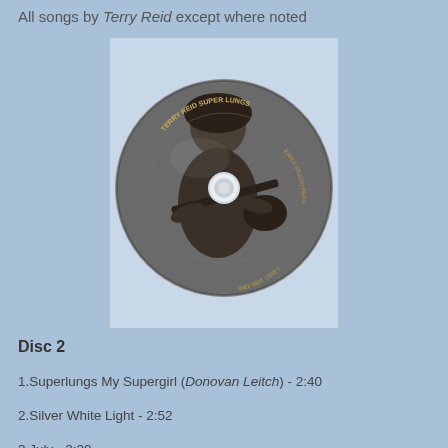All songs by Terry Reid except where noted
[Figure (photo): CD disc image of Terry Reid Super Lungs album, showing a person playing guitar on the disc surface]
Disc 2
1.Superlungs My Supergirl (Donovan Leitch) - 2:40
2.Silver White Light - 2:52
3.July - 3:30
4.Marking Time - 3:45
5.Stay With Me Baby (Weiss, Ragavoy) - 4:10
6.Highway 61 Revisited / Friends / Highway 61 Revisited